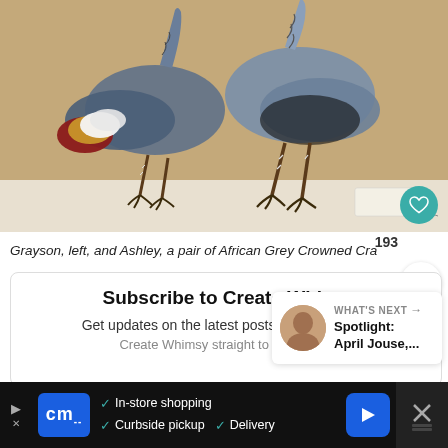[Figure (photo): Two decorative bird sculptures (African Grey Crowned Cranes) on a white surface. The birds are made of layered materials with intricate patterns. One bird on the left has colorful red, gold, and white feather details; the right bird is predominantly grey/blue tones.]
Grayson, left, and Ashley, a pair of African Grey Crowned Cra...
193
Subscribe to Create Whimsy
Get updates on the latest posts and more from
Create Whimsy straight to your inbox
WHAT'S NEXT → Spotlight: April Jouse,...
In-store shopping  ✓ Curbside pickup  ✓ Delivery